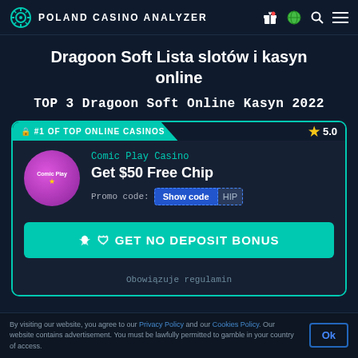POLAND CASINO ANALYZER
Dragoon Soft Lista slotów i kasyn online
TOP 3 Dragoon Soft Online Kasyn 2022
[Figure (screenshot): Casino card for Comic Play Casino showing #1 OF TOP ONLINE CASINOS badge, rating 5.0, Comic Play Casino logo, offer: Get $50 Free Chip, Promo code: Show code [HIP], GET NO DEPOSIT BONUS button, terms: Obowiązuje regulamin]
By visiting our website, you agree to our Privacy Policy and our Cookies Policy. Our website contains advertisement. You must be lawfully permitted to gamble in your country of access.